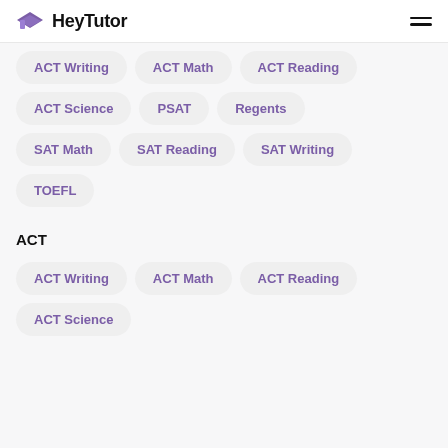HeyTutor
ACT Writing
ACT Math
ACT Reading
ACT Science
PSAT
Regents
SAT Math
SAT Reading
SAT Writing
TOEFL
ACT
ACT Writing
ACT Math
ACT Reading
ACT Science